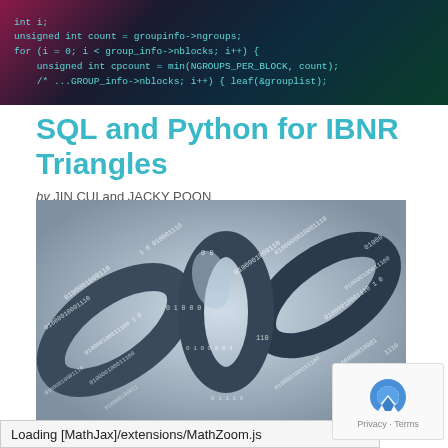[Figure (screenshot): Dark banner showing code with teal/cyan syntax-highlighted text on dark background with red/teal gradient]
SQL and Python for IBNR Triangles
by JIN CUI and JACKY POON
[Figure (photo): Close-up photograph of metallic chains with binary digits (0s and 1s) overlaid on the links, light blue and dark tones]
Loading [MathJax]/extensions/MathZoom.js